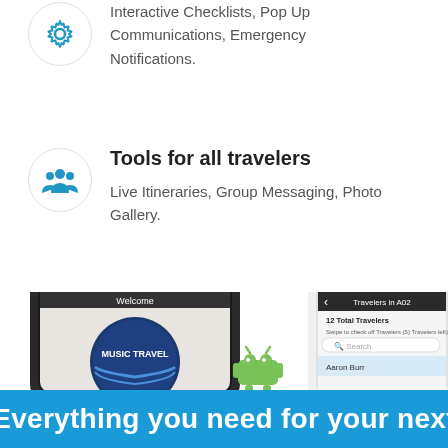Interactive Checklists, Pop Up Communications, Emergency Notifications.
Tools for all travelers
Live Itineraries, Group Messaging, Photo Gallery.
[Figure (photo): Two smartphones showing the Music Travel app — one black iPhone displaying a 'Welcome' screen with the Music Travel logo, and one white iPhone showing a 'Travelers in A02' screen listing 12 Total Travelers with a swipe interface. Apple and Android logos appear between the phones.]
Everything you need for your next